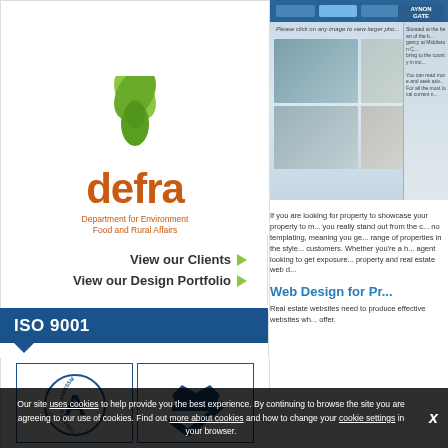[Figure (logo): Defra logo with green trefoil symbol and orange 'defra' text, subtitle 'Department for Environment Food and Rural Affairs']
View our Clients ▶
View our Design Portfolio ▶
ISO 9001
[Figure (photo): Two certification logos side by side with blue borders - Centre for Assessment logo (A symbol) and a crowned checkmark logo]
[Figure (screenshot): Screenshot of a property website showing photo gallery of coastal and country properties]
If you are looking for property to showcase your property to make you really stand out from the c... no templating, meaning you ge... range of properties in the style... customers. Whether you're a h... agent looking to get exposure... property and real estate web d...
Web Design for Pr...
Real estate websites need to produce effective websites wh... offer.
Our site uses cookies to help provide you the best experience. By continuing to browse the site you are agreeing to our use of cookies. Find out more about cookies and how to change your cookie settings in your browser.